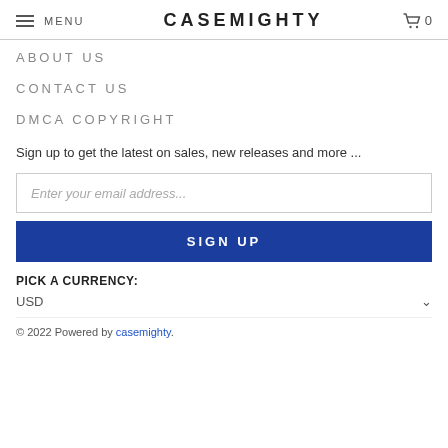MENU  CASEMIGHTY  0
ABOUT US
CONTACT US
DMCA COPYRIGHT
Sign up to get the latest on sales, new releases and more ...
Enter your email address...
SIGN UP
PICK A CURRENCY:
USD
© 2022 Powered by casemighty.